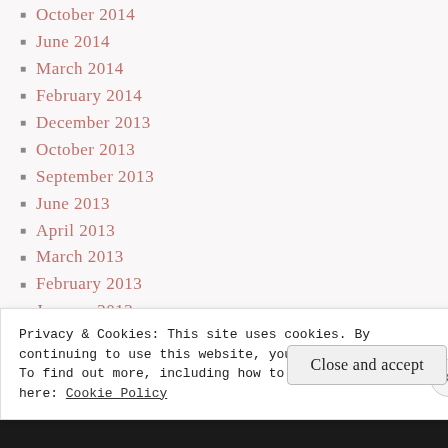October 2014
June 2014
March 2014
February 2014
December 2013
October 2013
September 2013
June 2013
April 2013
March 2013
February 2013
January 2013
December 2012
November 2012
October 2012
Privacy & Cookies: This site uses cookies. By continuing to use this website, you agree to their use.
To find out more, including how to control cookies, see here: Cookie Policy